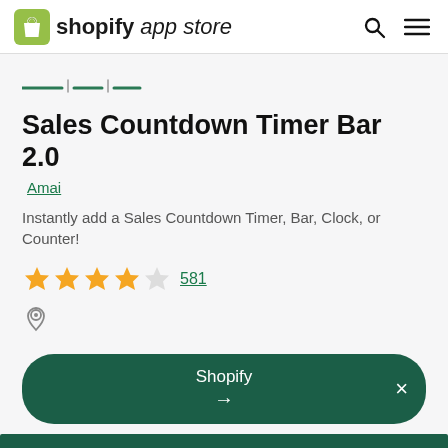shopify app store
[Figure (logo): Shopify app store logo with green shopping bag icon]
Sales Countdown Timer Bar 2.0
Amai
Instantly add a Sales Countdown Timer, Bar, Clock, or Counter!
★★★★½ 581
Shopify →